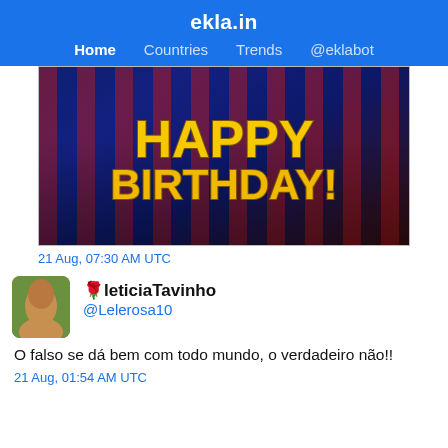ekla.in
Home  Countries  Trends  @eklabot
[Figure (photo): Happy Birthday image with golden text 'HAPPY BIRTHDAY!' over FC Barcelona striped jerseys background]
21 Aug, 07:30 AM UTC
🌹leticiaTavinho
@Lelerosa10
O falso se dá bem com todo mundo, o verdadeiro não!!
21 Aug, 01:54 AM UTC